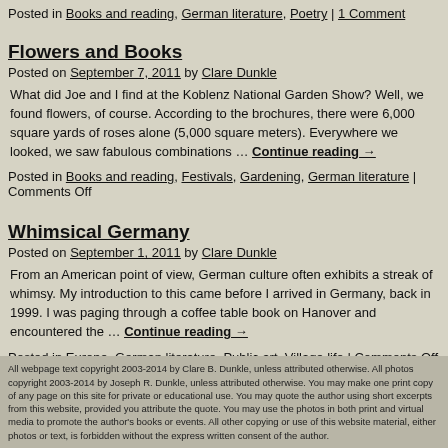Posted in Books and reading, German literature, Poetry | 1 Comment
Flowers and Books
Posted on September 7, 2011 by Clare Dunkle
What did Joe and I find at the Koblenz National Garden Show? Well, we found flowers, of course. According to the brochures, there were 6,000 square yards of roses alone (5,000 square meters). Everywhere we looked, we saw fabulous combinations … Continue reading →
Posted in Books and reading, Festivals, Gardening, German literature | Comments Off
Whimsical Germany
Posted on September 1, 2011 by Clare Dunkle
From an American point of view, German culture often exhibits a streak of whimsy. My introduction to this came before I arrived in Germany, back in 1999. I was paging through a coffee table book on Hanover and encountered the … Continue reading →
Posted in Europe, German literature, Public art, Village life | Comments Off
All webpage text copyright 2003-2014 by Clare B. Dunkle, unless attributed otherwise. All photos copyright 2003-2014 by Joseph R. Dunkle, unless attributed otherwise. You may make one print copy of any page on this site for private or educational use. You may quote the author using short excerpts from this website, provided you attribute the quote. You may use the photos in both print and virtual media to promote the author's books or events. All other copying or use of this website material, either photos or text, is forbidden without the express written consent of the author.